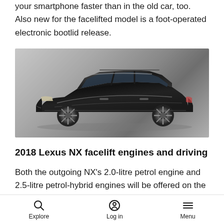your smartphone faster than in the old car, too. Also new for the facelifted model is a foot-operated electronic bootlid release.
[Figure (photo): Side profile view of a black Lexus NX SUV on a grey studio background]
2018 Lexus NX facelift engines and driving
Both the outgoing NX's 2.0-litre petrol engine and 2.5-litre petrol-hybrid engines will be offered on the new model. Neither performance nor fuel
Explore   Log in   Menu